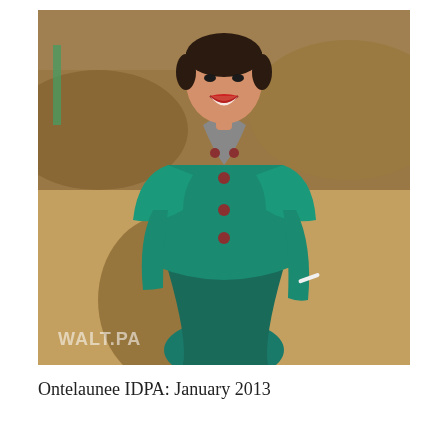[Figure (photo): A woman in a teal/green double-breasted jacket and matching skirt stands outdoors on a sunny day, smiling with mouth open. She has short dark hair and holds something white (possibly a cigarette or pen) in her right hand. Her shadow is visible on the ground. The background shows dry grass and dirt mounds. A watermark reading 'WALT.PA' appears in the lower left corner of the photo.]
Ontelaunee IDPA: January 2013